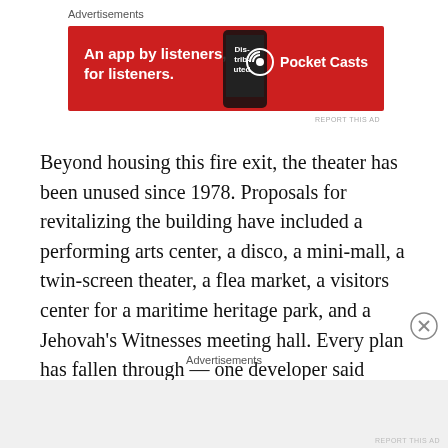Advertisements
[Figure (other): Pocket Casts advertisement banner: red background with white bold text 'An app by listeners, for listeners.' and Pocket Casts logo with phone image showing 'Distributed' text]
Beyond housing this fire exit, the theater has been unused since 1978. Proposals for revitalizing the building have included a performing arts center, a disco, a mini-mall, a twin-screen theater, a flea market, a visitors center for a maritime heritage park, and a Jehovah’s Witnesses meeting hall. Every plan has fallen through — one developer said “Physically, it’s just too big. There just isn’t the population in the area to fill that theater every
Advertisements